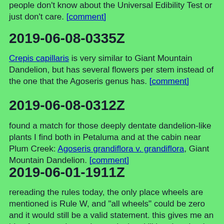people don't know about the Universal Edibility Test or just don't care. [comment]
2019-06-08-0335Z
Crepis capillaris is very similar to Giant Mountain Dandelion, but has several flowers per stem instead of the one that the Agoseris genus has. [comment]
2019-06-08-0312Z
found a match for those deeply dentate dandelion-like plants I find both in Petaluma and at the cabin near Plum Creek: Agoseris grandiflora v. grandiflora, Giant Mountain Dandelion. [comment]
2019-06-01-1911Z
rereading the rules today, the only place wheels are mentioned is Rule W, and "all wheels" could be zero and it would still be a valid statement. this gives me an idea for an easier sculpture design. it'll be slow, but it should be able to handle sand and water just fine. [comment]